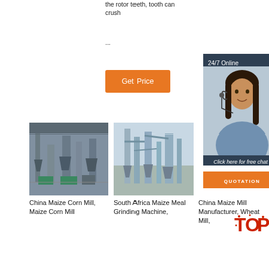the rotor teeth, tooth can crush
...
[Figure (other): Orange 'Get Price' button]
[Figure (other): 24/7 Online customer service banner with photo of woman wearing headset. Includes 'Click here for free chat!' text and orange 'QUOTATION' button.]
[Figure (photo): China Maize Corn Mill machinery photo]
[Figure (photo): South Africa Maize Meal Grinding Machine photo]
China Maize Corn Mill, Maize Corn Mill
South Africa Maize Meal Grinding Machine,
China Maize Mill Manufacturer, Wheat Mill,